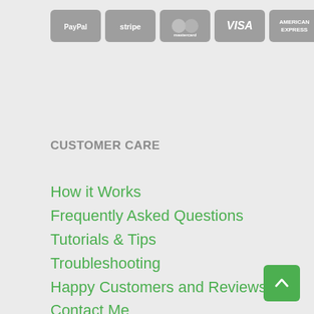[Figure (logo): Payment method icons: PayPal, Stripe, Mastercard, VISA, American Express, Discover — all displayed as grey rounded rectangle badges]
CUSTOMER CARE
How it Works
Frequently Asked Questions
Tutorials & Tips
Troubleshooting
Happy Customers and Reviews
Contact Me
About SIMONEmadeit
Privacy Policy
Terms of Use